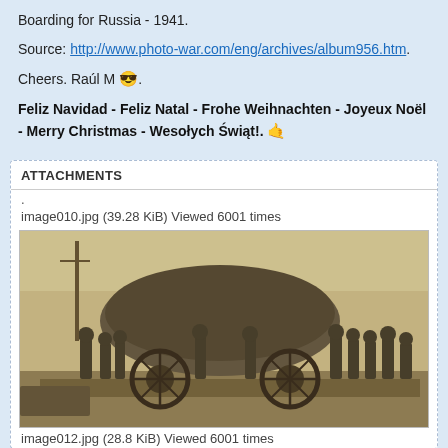Boarding for Russia - 1941.
Source: http://www.photo-war.com/eng/archives/album956.htm.
Cheers. Raúl M 😎.
Feliz Navidad - Feliz Natal - Frohe Weihnachten - Joyeux Noël - Merry Christmas - Wesołych Świąt!. 🤙
ATTACHMENTS
.
image010.jpg (39.28 KiB) Viewed 6001 times
[Figure (photo): Historical sepia photograph of soldiers loading or handling a large covered artillery piece or military vehicle onto a railway flatcar, multiple soldiers visible pushing the heavy equipment, large spoked wheels visible, outdoor railway setting, 1941 era.]
image012.jpg (28.8 KiB) Viewed 6001 times